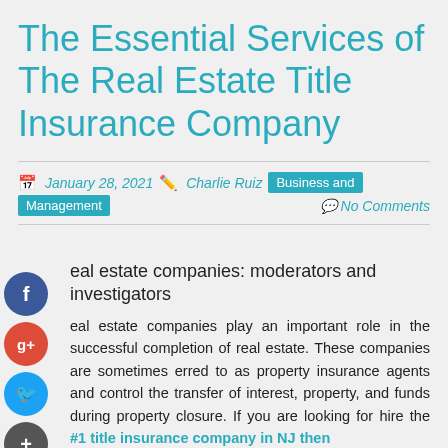The Essential Services of The Real Estate Title Insurance Company
January 28, 2021   Charlie Ruiz   Business and Management   No Comments
eal estate companies: moderators and investigators
eal estate companies play an important role in the successful completion of real estate. These companies are sometimes erred to as property insurance agents and control the transfer of interest, property, and funds during property closure. If you are looking for hire the #1 title insurance company in NJ then clear skies title agency is the best option for you.